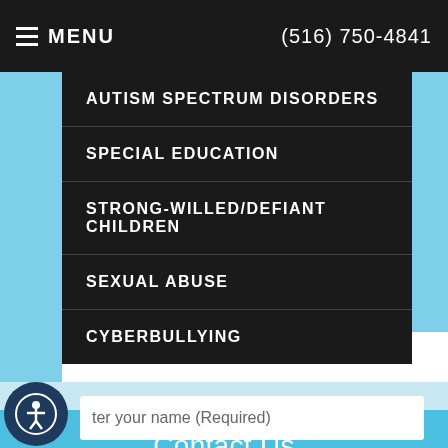MENU   (516) 750-4841
AUTISM SPECTRUM DISORDERS
SPECIAL EDUCATION
STRONG-WILLED/DEFIANT CHILDREN
SEXUAL ABUSE
CYBERBULLYING
Contact Us
Send Us an Email
ter your name (Required)